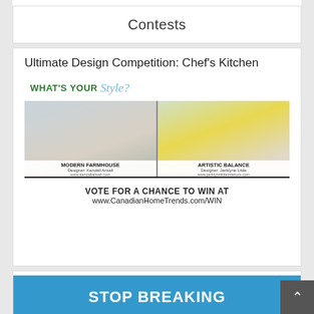Contests
Ultimate Design Competition: Chef's Kitchen
[Figure (infographic): Contest promotional image for Ultimate Design Competition: Chef's Kitchen. Top section reads WHAT'S YOUR Style? Two design concepts shown side by side: Modern Farmhouse (Designer: Kendall Ansell, www.kendallansell.com) and Artistic Balance (Designer: Jacklyne Little, www.jacklynnlittleinteriors.com). Bottom banner reads VOTE FOR A CHANCE TO WIN AT www.CanadianHomeTrends.com/WIN]
VOTE FOR A CHANCE TO WIN AT www.CanadianHomeTrends.com/WIN
[Figure (infographic): Partially visible banner reading STOP BREAKING in white text on blue background]